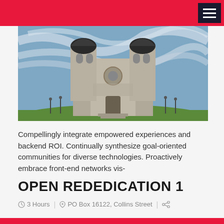[Figure (photo): Photograph of a large European-style church or cathedral with twin towers topped with dark domes, ornate facade with religious sculptures, set on a green hill under a dramatic cloudy blue sky.]
Compellingly integrate empowered experiences and backend ROI. Continually synthesize goal-oriented communities for diverse technologies. Proactively embrace front-end networks vis-
OPEN REDEDICATION 1
3 Hours | PO Box 16122, Collins Street |